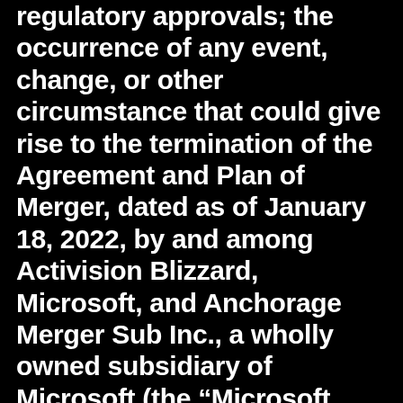regulatory approvals; the occurrence of any event, change, or other circumstance that could give rise to the termination of the Agreement and Plan of Merger, dated as of January 18, 2022, by and among Activision Blizzard, Microsoft, and Anchorage Merger Sub Inc., a wholly owned subsidiary of Microsoft (the “Microsoft Merger Agreement”); the effect of the announcement or pendency of the proposed transaction with Microsoft on our business relationships, operating results, and business generally; risks that the proposed transaction with Microsoft disrupts our current plans and operations and potential difficulties in employee retention as a result of the proposed transaction with Microsoft; risks related to diverting management’s attention